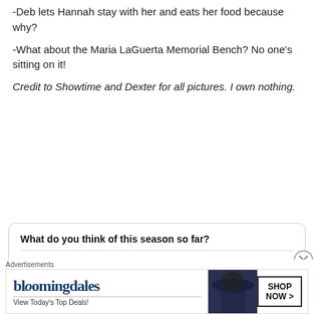-Deb lets Hannah stay with her and eats her food because why?
-What about the Maria LaGuerta Memorial Bench? No one's sitting on it!
Credit to Showtime and Dexter for all pictures. I own nothing.
What do you think of this season so far?
It's been exactly what I hoped for.
It's been okay, but kind of boring.
[Figure (other): Bloomingdale's advertisement banner with woman in hat, View Today's Top Deals!, SHOP NOW >]